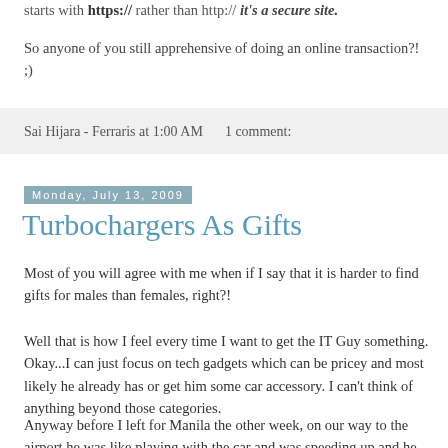starts with https:// rather than http:// it's a secure site.
So anyone of you still apprehensive of doing an online transaction?! ;)
Sai Hijara - Ferraris at 1:00 AM    1 comment:
Monday, July 13, 2009
Turbochargers As Gifts
Most of you will agree with me when if I say that it is harder to find gifts for males than females, right?!
Well that is how I feel every time I want to get the IT Guy something. Okay...I can just focus on tech gadgets which can be pricey and most likely he already has or get him some car accessory. I can't think of anything beyond those categories.
Anyway before I left for Manila the other week, on our way to the airport he was like playing with the car and was speeding up and he mentioned something about turbochargers. Hmmm.